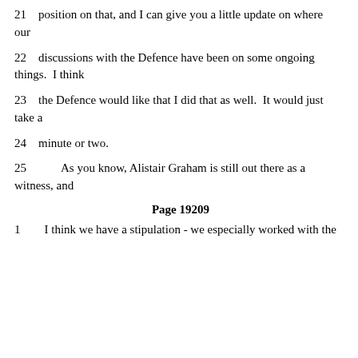21    position on that, and I can give you a little update on where our
22    discussions with the Defence have been on some ongoing things.  I think
23    the Defence would like that I did that as well.  It would just take a
24    minute or two.
25        As you know, Alistair Graham is still out there as a witness, and
Page 19209
1    I think we have a stipulation - we especially worked with the